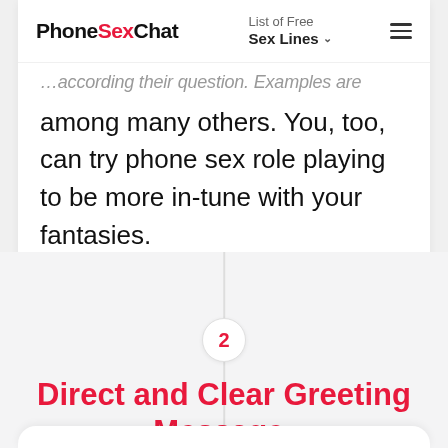PhoneSexChat | List of Free Sex Lines
…according their question. Examples are among many others. You, too, can try phone sex role playing to be more in-tune with your fantasies.
2
Direct and Clear Greeting Message: